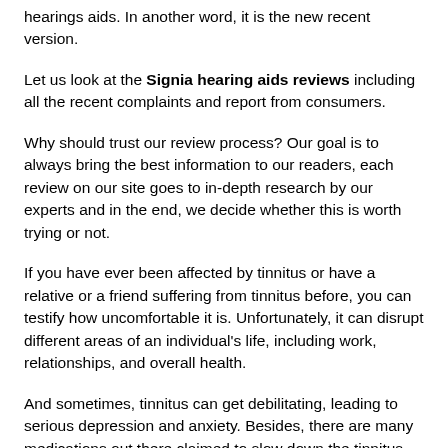hearings aids. In another word, it is the new recent version.
Let us look at the Signia hearing aids reviews including all the recent complaints and report from consumers.
Why should trust our review process? Our goal is to always bring the best information to our readers, each review on our site goes to in-depth research by our experts and in the end, we decide whether this is worth trying or not.
If you have ever been affected by tinnitus or have a relative or a friend suffering from tinnitus before, you can testify how uncomfortable it is. Unfortunately, it can disrupt different areas of an individual's life, including work, relationships, and overall health.
And sometimes, tinnitus can get debilitating, leading to serious depression and anxiety. Besides, there are many medications out there claimed to slow down the tinnitus irritation or even heal it. And if you are among tinnitus patients, you might have tried where some worked and others did not.